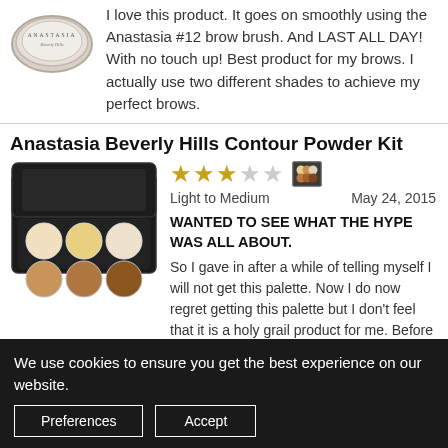[Figure (photo): Anastasia Beverly Hills product container with logo, circular/round shape, top view]
I love this product. It goes on smoothly using the Anastasia #12 brow brush. And LAST ALL DAY! With no touch up! Best product for my brows. I actually use two different shades to achieve my perfect brows.
Anastasia Beverly Hills Contour Powder Kit
[Figure (photo): Anastasia Beverly Hills Contour Powder Kit palette, opened, showing 6 circular powder pans in two rows: top row light/ivory/white tones, bottom row medium brown/tan/dark brown tones]
Light to Medium    May 24, 2015
WANTED TO SEE WHAT THE HYPE WAS ALL ABOUT.
So I gave in after a while of telling myself I will not get this palette. Now I do now regret getting this palette but I don't feel that it is a holy grail product for me. Before I purchased
We use cookies to ensure you get the best experience on our website.